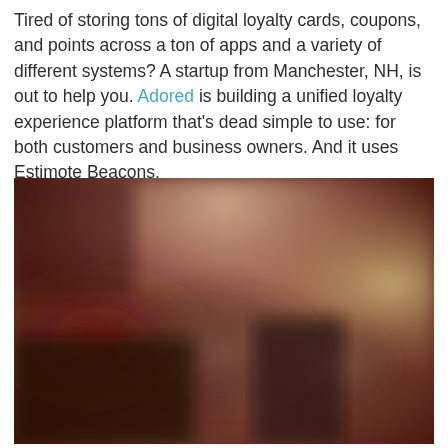Tired of storing tons of digital loyalty cards, coupons, and points across a ton of apps and a variety of different systems? A startup from Manchester, NH, is out to help you. Adored is building a unified loyalty experience platform that's dead simple to use: for both customers and business owners. And it uses Estimote Beacons.
[Figure (photo): Blurred indoor photo showing two people in what appears to be a cafe or restaurant setting with warm ambient lighting. The image is out of focus with dark reddish-brown tones on the left and lighter tones on the right.]